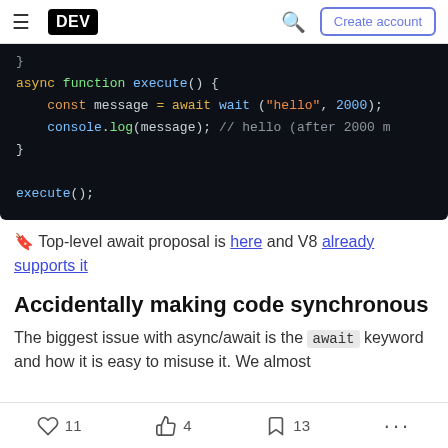DEV — Create account
[Figure (screenshot): Dark-themed code block showing JavaScript async/await code: async function execute() { const message = await wait ("hello", 2000); console.log(message); // hello (after 2000 m } execute();]
🔖 Top-level await proposal is here and V8 already supports it
Accidentally making code synchronous
The biggest issue with async/await is the await keyword and how it is easy to misuse it. We almost
11   4   13   ...